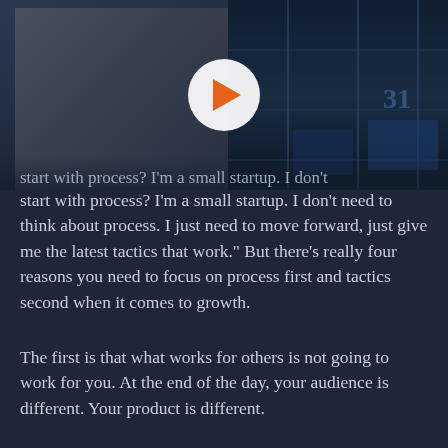[Figure (screenshot): Video thumbnail showing a man in a grey sweater gesturing, with a play button overlay. Dark blue studio background.]
start with process? I'm a small startup. I don't need to think about process. I just need to move forward, just give me the latest tactics that work." But there's really four reasons you need to focus on process first and tactics second when it comes to growth.
The first is that what works for others is not going to work for you. At the end of the day, your audience is different. Your product is different.